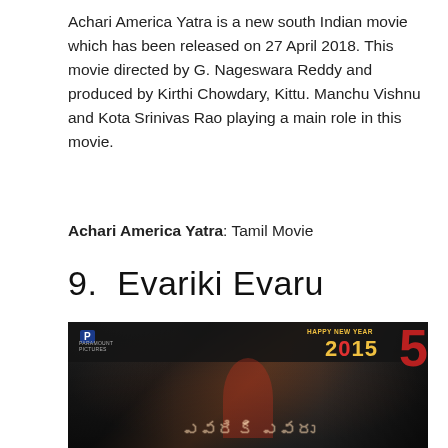Achari America Yatra is a new south Indian movie which has been released on 27 April 2018. This movie directed by G. Nageswara Reddy and produced by Kirthi Chowdary, Kittu. Manchu Vishnu and Kota Srinivas Rao playing a main role in this movie.
Achari America Yatra: Tamil Movie
9.  Evariki Evaru
[Figure (photo): Movie poster for Evariki Evaru showing multiple cast members with a central male figure in a red shirt, background showing Happy New Year 2015 text and a production company logo]